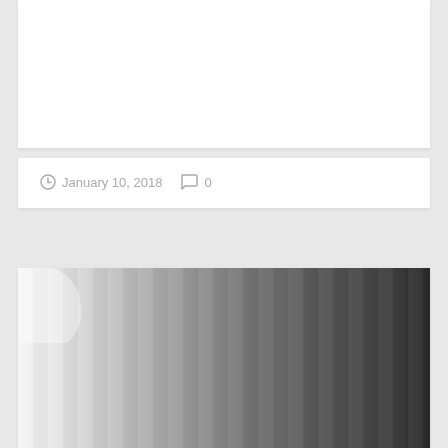January 10, 2018   0
Black, White or Gray. Which would you choose?
[Figure (photo): A grayscale gradient image showing vertical bands transitioning from white/light gray on the left to dark gray/black on the right.]